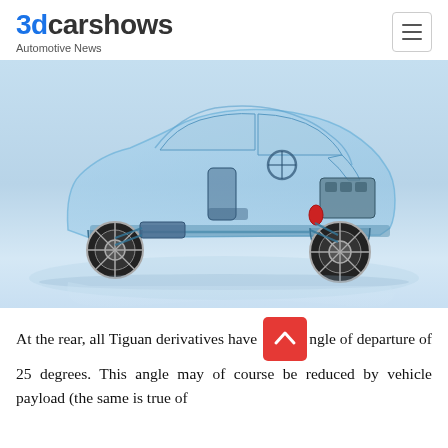3dcarshows Automotive News
[Figure (illustration): Cutaway/transparent 3D render of a compact SUV (Volkswagen Tiguan-type) showing internal mechanical components including engine, suspension, drivetrain, wheels, and interior skeleton on a light blue gradient background]
At the rear, all Tiguan derivatives have an angle of departure of 25 degrees. This angle may of course be reduced by vehicle payload (the same is true of